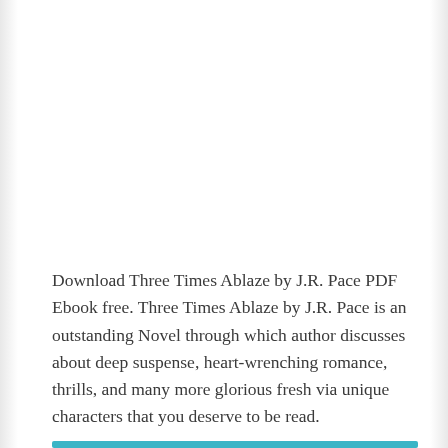Download Three Times Ablaze by J.R. Pace PDF Ebook free. Three Times Ablaze by J.R. Pace is an outstanding Novel through which author discusses about deep suspense, heart-wrenching romance, thrills, and many more glorious fresh via unique characters that you deserve to be read.